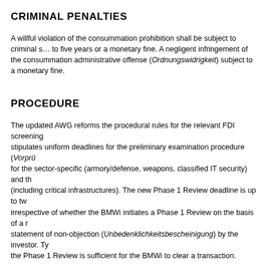CRIMINAL PENALTIES
A willful violation of the consummation prohibition shall be subject to criminal sanctions of up to five years or a monetary fine. A negligent infringement of the consummation prohibition is an administrative offense (Ordnungswidrigkeit) subject to a monetary fine.
PROCEDURE
The updated AWG reforms the procedural rules for the relevant FDI screening and stipulates uniform deadlines for the preliminary examination procedure (Vorprüfung) for the sector-specific (armory/defense, weapons, classified IT security) and the cross-sector (including critical infrastructures). The new Phase 1 Review deadline is up to two months, irrespective of whether the BMWi initiates a Phase 1 Review on the basis of a request for a statement of non-objection (Unbedenklichkeitsbescheinigung) by the investor. Typically, the Phase 1 Review is sufficient for the BMWi to clear a transaction.
In complex cases, the BMWi may initiate an in-depth investigation (Hauptprüfung). The duration of the Phase 2 Review is up to an additional four months, both for the sector and cross-sector FDI review. The Phase 2 Review deadline only starts when the BMWi considers it complete. BMWi may further extend the Phase 2 Review by up to three additional months (if national defense interests are concerned, up to four additional months), or in case of co-operation the Phase 2 Review provides for stop-the-clock mechanisms, e.g., in case of negotiations.